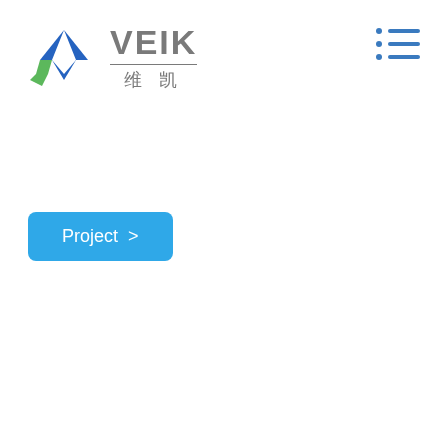[Figure (logo): VEIK company logo with blue and green chevron/diamond mark, 'VEIK' in grey text, horizontal divider, and Chinese characters '维凯' below]
[Figure (other): Hamburger menu icon with three rows each containing a blue dot and blue horizontal line]
Project >